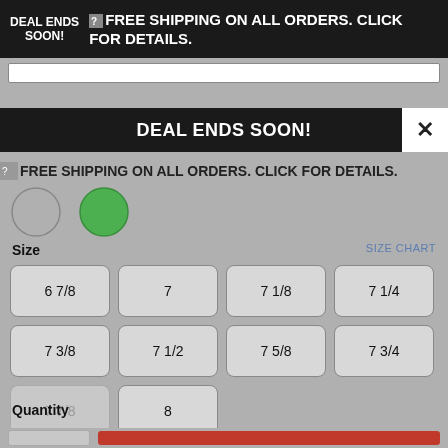DEAL ENDS SOON! FREE SHIPPING ON ALL ORDERS. CLICK FOR DETAILS.
[Figure (screenshot): Close button (X) on white background in top-right of modal]
DEAL ENDS SOON!
FREE SHIPPING ON ALL ORDERS. CLICK FOR DETAILS.
[Figure (illustration): Two color swatches: gray circle and green circle]
Size
SIZE CHART
6 7/8
7
7 1/8
7 1/4
7 3/8
7 1/2
7 5/8
7 3/4
7 7/8
8
Quantity